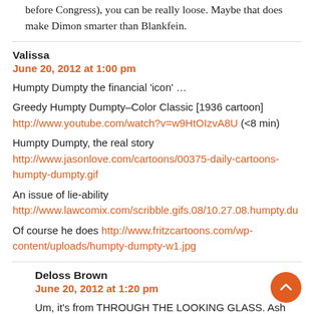Exactly. When you're not them in (while you're testifying before Congress), you can be really loose. Maybe that does make Dimon smarter than Blankfein.
Valissa
June 20, 2012 at 1:00 pm
Humpty Dumpty the financial 'icon' …
Greedy Humpty Dumpty–Color Classic [1936 cartoon] http://www.youtube.com/watch?v=w9HtOIzvA8U (<8 min)
Humpty Dumpty, the real story http://www.jasonlove.com/cartoons/00375-daily-cartoons-humpty-dumpty.gif
An issue of lie-ability http://www.lawcomix.com/scribble.gifs.08/10.27.08.humpty.du
Of course he does http://www.fritzcartoons.com/wp-content/uploads/humpty-dumpty-w1.jpg
Deloss Brown
June 20, 2012 at 1:20 pm
Um, it's from THROUGH THE LOOKING GLASS. Ash